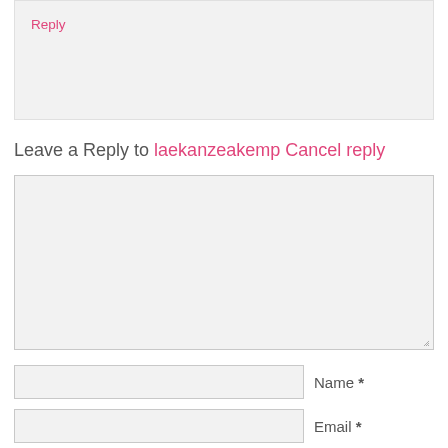Reply
Leave a Reply to laekanzeakemp Cancel reply
[Figure (other): Comment text area input box]
Name *
Email *